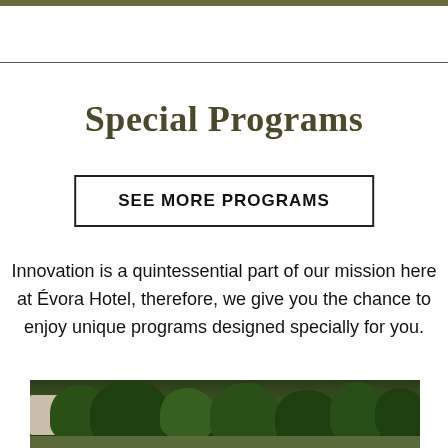Special Programs
SEE MORE PROGRAMS
Innovation is a quintessential part of our mission here at Évora Hotel, therefore, we give you the chance to enjoy unique programs designed specially for you.
[Figure (photo): Aerial view of hotel grounds with lush green trees and garden landscape]